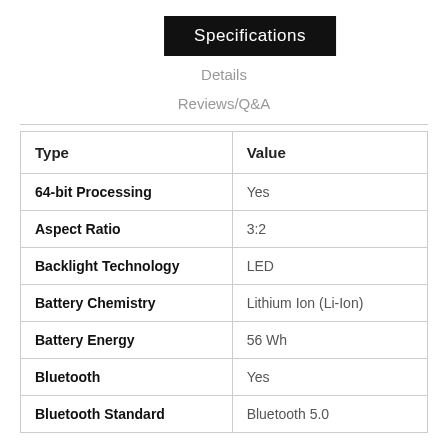Specifications
Details
Reviews/Q&A
| Type | Value |
| --- | --- |
| 64-bit Processing | Yes |
| Aspect Ratio | 3:2 |
| Backlight Technology | LED |
| Battery Chemistry | Lithium Ion (Li-Ion) |
| Battery Energy | 56 Wh |
| Bluetooth | Yes |
| Bluetooth Standard | Bluetooth 5.0 |